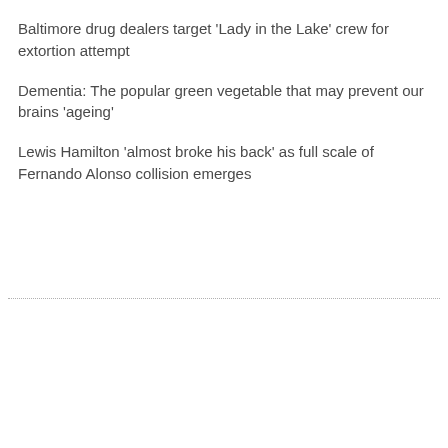Baltimore drug dealers target 'Lady in the Lake' crew for extortion attempt
Dementia: The popular green vegetable that may prevent our brains 'ageing'
Lewis Hamilton 'almost broke his back' as full scale of Fernando Alonso collision emerges